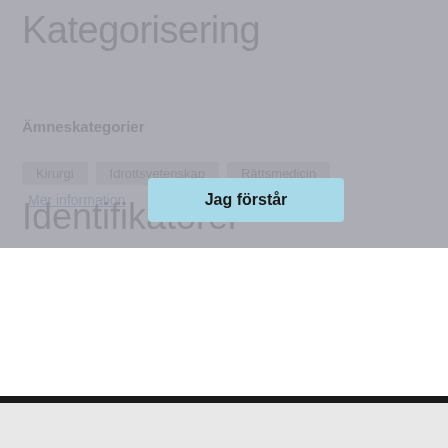Kategorisering
research.chalmers.se använder cookies för bättre funktionalitet och användarupplevelse.
Ämneskategorier
Kirurgi
Idrottsvetenskap
Rättsmedicin
Mer information
Jag förstår
Identifikatorer
Mer information
Senast uppdaterat
2019-01-15
Feedback och support
Om du har frågor, behöver hjälp, hittar en bugg eller vill ge